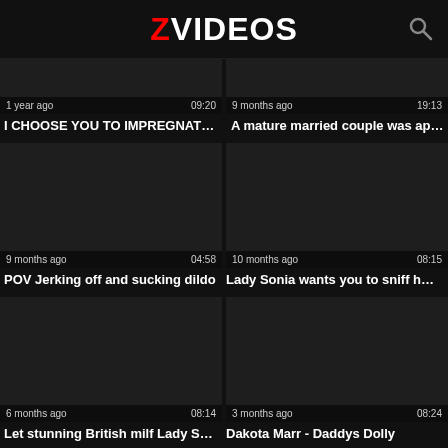ZVIDEOS
[Figure (screenshot): Video thumbnail - partially visible, dark background, 1 year ago, 09:20]
[Figure (screenshot): Video thumbnail - partially visible, dark background, 9 months ago, 19:13]
I CHOOSE YOU TO IMPREGNATE ME
A mature married couple was apart...
[Figure (screenshot): Video thumbnail - dark background, 9 months ago, 04:58]
[Figure (screenshot): Video thumbnail - dark background, 10 months ago, 08:15]
POV Jerking off and sucking dildo
Lady Sonia wants you to sniff her ...
[Figure (screenshot): Video thumbnail - dark background, 6 months ago, 08:14]
[Figure (screenshot): Video thumbnail - dark background, 3 months ago, 08:24]
Let stunning British milf Lady Soni...
Dakota Marr - Daddys Dolly
[Figure (screenshot): Video thumbnail - partially visible at bottom, dark background]